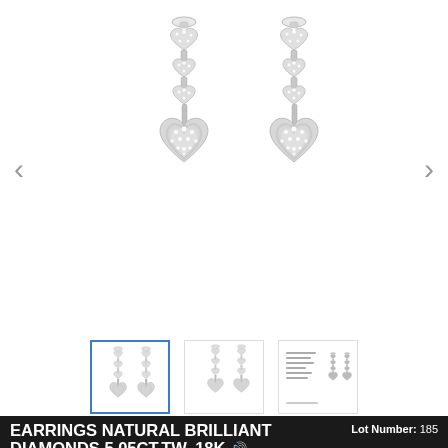[Figure (photo): Product photo of a pair of long drop diamond earrings with heart-shaped pendants fully pavé-set with natural brilliant diamonds in white gold/18K, shown on white background. Navigation arrows on left and right sides.]
[Figure (photo): Three thumbnail images of the earrings: first (active/selected with blue border) shows front view, second shows side/alternate view, third shows a document/spec sheet with earring diagram.]
EARRINGS NATURAL BRILLIANT DIAMONDS 5.05CT.TW. 18K 🔊
Lot Number: 185